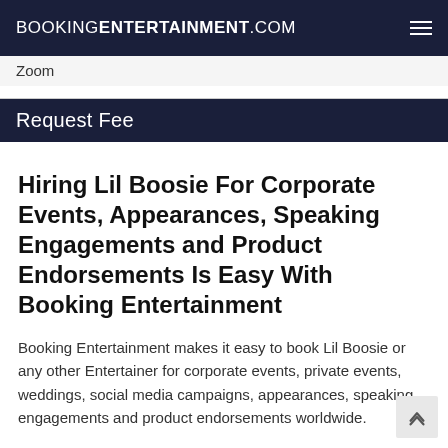BOOKINGENTERTAINMENT.COM
Zoom
Request Fee
Hiring Lil Boosie For Corporate Events, Appearances, Speaking Engagements and Product Endorsements Is Easy With Booking Entertainment
Booking Entertainment makes it easy to book Lil Boosie or any other Entertainer for corporate events, private events, weddings, social media campaigns, appearances, speaking engagements and product endorsements worldwide.
Booking Entertainment can also help you book Lil Boosie